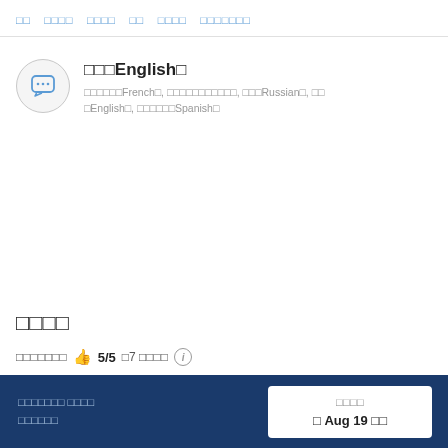□□  □□□□  □□□□  □□  □□□□  □□□□□□□
□□□English□
□□□□□□French□, □□□□□□□□□□□, □□□Russian□, □□□English□, □□□□□□Spanish□
□□□□
□□□□□□□ 👍 5/5 □7 □□□□ ⓘ
□□□□□□□ □□□□ □□□□□□
□□□□
□ Aug 19 □□